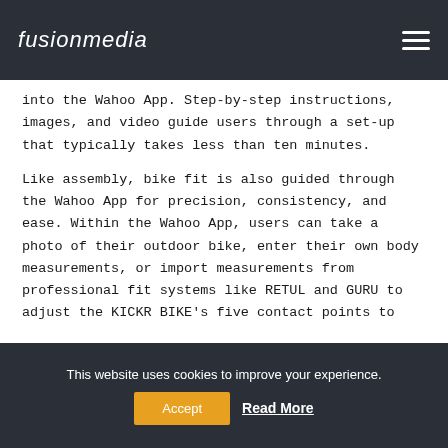fusionmedia
into the Wahoo App. Step-by-step instructions, images, and video guide users through a set-up that typically takes less than ten minutes.
Like assembly, bike fit is also guided through the Wahoo App for precision, consistency, and ease. Within the Wahoo App, users can take a photo of their outdoor bike, enter their own body measurements, or import measurements from professional fit systems like RETUL and GURU to adjust the KICKR BIKE's five contact points to
This website uses cookies to improve your experience.
Accept   Read More